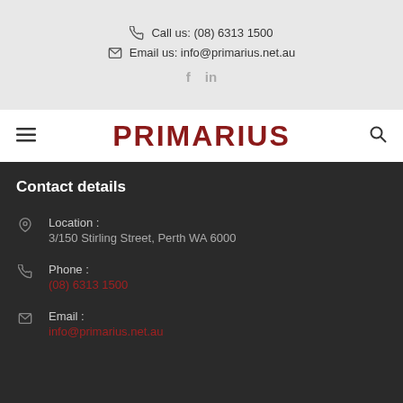Call us: (08) 6313 1500
Email us: info@primarius.net.au
[Figure (logo): Facebook and LinkedIn social icons]
[Figure (logo): PRIMARIUS logo in dark red bold text with hamburger menu icon and search icon]
Contact details
Location :
3/150 Stirling Street, Perth WA 6000
Phone :
(08) 6313 1500
Email :
info@primarius.net.au